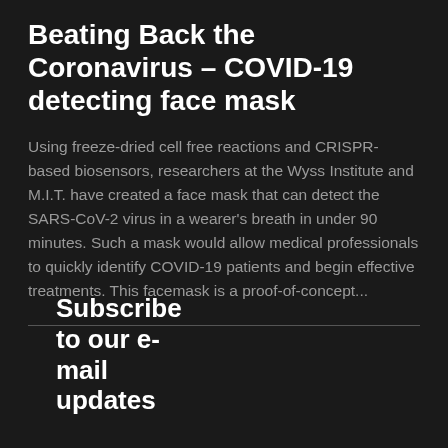Beating Back the Coronavirus – COVID-19 detecting face mask
Using freeze-dried cell free reactions and CRISPR-based biosensors, researchers at the Wyss Institute and M.I.T. have created a face mask that can detect the SARS-CoV-2 virus in a wearer's breath in under 90 minutes. Such a mask would allow medical professionals to quickly identify COVID-19 patients and begin effective treatments. This facemask is a proof-of-concept...
Subscribe to our e-mail updates